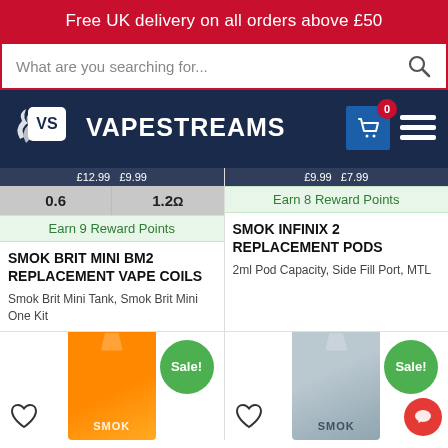Free UK delivery on all orders above £50
[Figure (screenshot): Search bar with placeholder text 'What are you searching for...' and search icon]
[Figure (logo): Vapestreams logo with VS icon and cart/hamburger nav on dark blue background]
0.6   1.2Ω
Earn 9 Reward Points
SMOK BRIT MINI BM2 REPLACEMENT VAPE COILS
Smok Brit Mini Tank, Smok Brit Mini One Kit
Earn 8 Reward Points
SMOK INFINIX 2 REPLACEMENT PODS
2ml Pod Capacity, Side Fill Port, MTL
[Figure (photo): SMOK orange product box with Sale! badge and heart icon]
[Figure (photo): SMOK grey/blue product box with Sale! badge and chat icon]